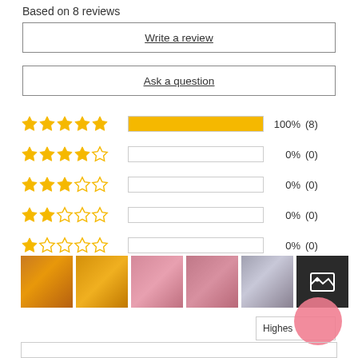Based on 8 reviews
Write a review
Ask a question
[Figure (bar-chart): Rating distribution]
[Figure (photo): Thumbnail photos of product reviews - orange cloth diaper, yellow cloth diaper, pink cloth, pink cloth, grey patterned cloth, dark image with gallery icon]
Highes